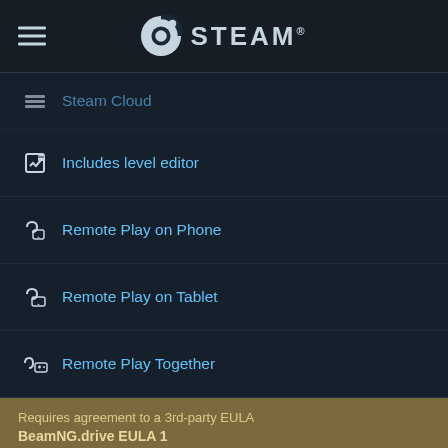STEAM
Steam Cloud
Includes level editor
Remote Play on Phone
Remote Play on Tablet
Remote Play Together
Requires agreement to a 3rd-party EULA
BeamNG.drive EULA 1
LINKS & INFO
View Steam Achievements (4)
View Points Shop Items (3)
View Community Hub